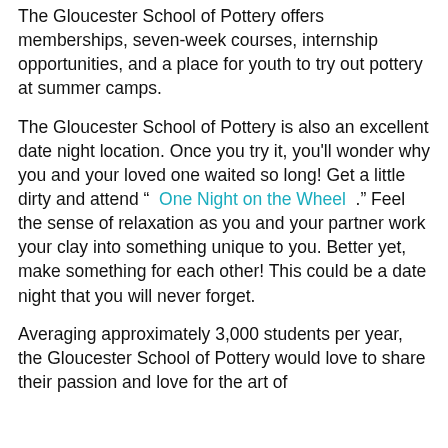The Gloucester School of Pottery offers memberships, seven-week courses, internship opportunities, and a place for youth to try out pottery at summer camps.
The Gloucester School of Pottery is also an excellent date night location. Once you try it, you'll wonder why you and your loved one waited so long! Get a little dirty and attend “ One Night on the Wheel .” Feel the sense of relaxation as you and your partner work your clay into something unique to you. Better yet, make something for each other! This could be a date night that you will never forget.
Averaging approximately 3,000 students per year, the Gloucester School of Pottery would love to share their passion and love for the art of pottery with...